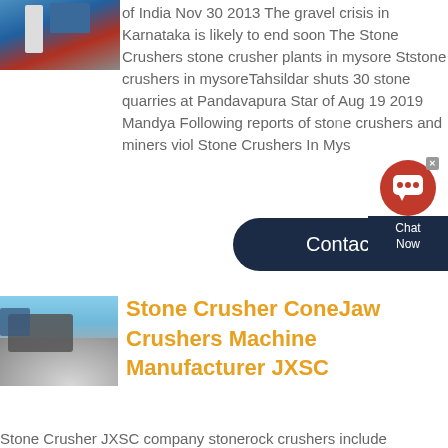[Figure (photo): Industrial stone crusher machine, blue and red equipment]
of India Nov 30 2013 The gravel crisis in Karnataka is likely to end soon The Stone Crushers stone crusher plants in mysore Ststone crushers in mysoreTahsildar shuts 30 stone quarries at Pandavapura Star of Aug 19 2019 Mandya Following reports of stone crushers and miners viol Stone Crushers In Mys
[Figure (infographic): Chat Now widget with red chat bubble icon and dark navy background]
[Figure (infographic): Contact button, dark navy rounded rectangle]
[Figure (photo): Stone crusher machine with gravel pile outdoors]
Stone Crusher ConeJaw Crushers Machine Manufacturer JXSC
Stone Crusher JXSC company stonerock crushers include